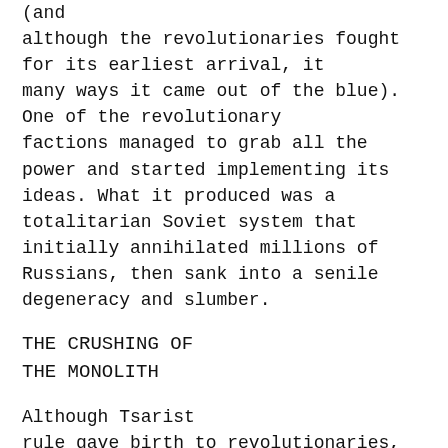(and although the revolutionaries fought for its earliest arrival, it many ways it came out of the blue). One of the revolutionary factions managed to grab all the power and started implementing its ideas. What it produced was a totalitarian Soviet system that initially annihilated millions of Russians, then sank into a senile degeneracy and slumber.
THE CRUSHING OF THE MONOLITH
Although Tsarist rule gave birth to revolutionaries, Soviet power brought to life the dissidents who, with certain reservations, can be discussed in terms of being the functional equivalents of the